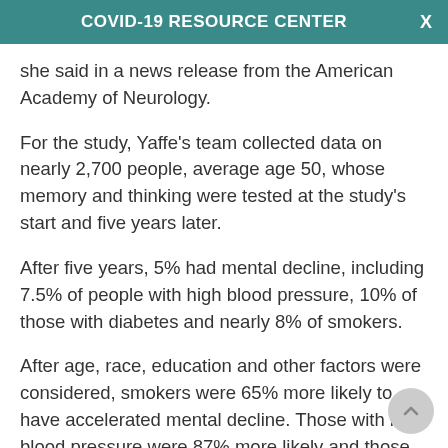COVID-19 RESOURCE CENTER
she said in a news release from the American Academy of Neurology.
For the study, Yaffe's team collected data on nearly 2,700 people, average age 50, whose memory and thinking were tested at the study's start and five years later.
After five years, 5% had mental decline, including 7.5% of people with high blood pressure, 10% of those with diabetes and nearly 8% of smokers.
After age, race, education and other factors were considered, smokers were 65% more likely to have accelerated mental decline. Those with high blood pressure were 87% more likely and those with diabetes had nearly triple the risk, the researchers said.